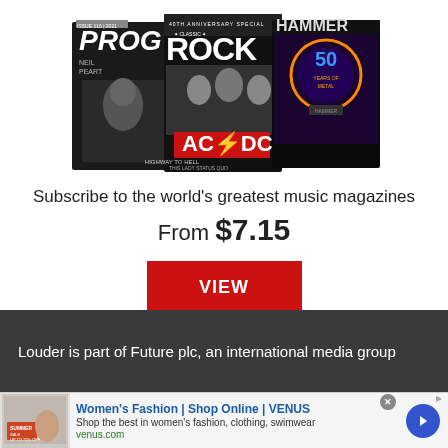[Figure (photo): Three overlapping music magazine covers: Prog (black and white cover featuring Neil Peart), Classic Rock (AC/DC 40th Anniversary Highway to Hell issue), and Metal Hammer (50 Years of Heavy Metal issue with colorful artwork)]
Subscribe to the world's greatest music magazines
From $7.15
VIEW
Louder is part of Future plc, an international media group
Women's Fashion | Shop Online | VENUS
Shop the best in women's fashion, clothing, swimwear
venus.com